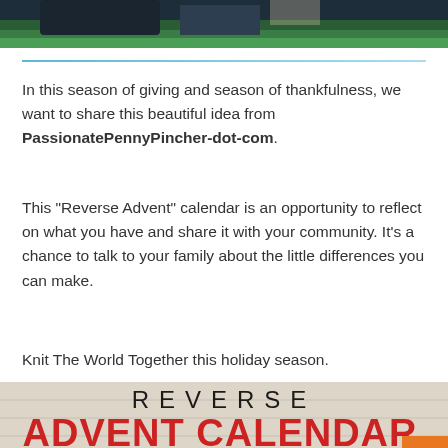[Figure (photo): Top portion of a photo showing people outdoors with green foliage background, partially cropped]
In this season of giving and season of thankfulness, we want to share this beautiful idea from PassionatePennyPincher-dot-com.
This "Reverse Advent" calendar is an opportunity to reflect on what you have and share it with your community. It's a chance to talk to your family about the little differences you can make.
Knit The World Together this holiday season.
[Figure (infographic): Reverse Advent Calendar promotional image with text: REVERSE ADVENT CALENDAR - EACH DAY ADD AN ITEM TO A BOX. ON CHRISTMAS EVE DONATE THE CONTENTS TO A [food bank/shelter]]